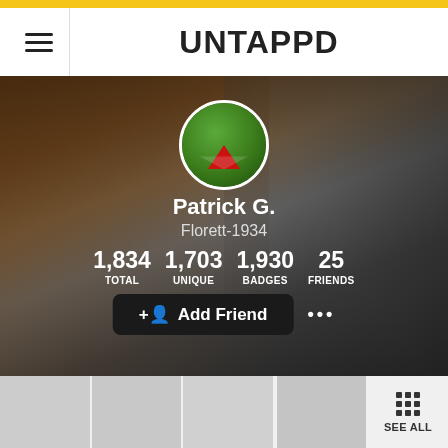UNTAPPD
[Figure (photo): Motorcycle close-up photo used as profile background cover image]
Patrick G.
Florett-1934
1,834 TOTAL   1,703 UNIQUE   1,930 BADGES   25 FRIENDS
+ Add Friend
[Figure (photo): Row of beer check-in thumbnail images with SEE ALL grid button]